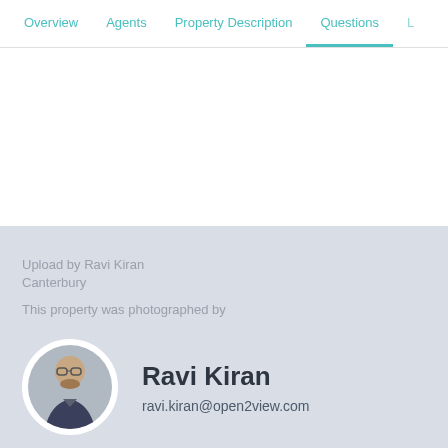Overview | Agents | Property Description | Questions | L
Upload by Ravi Kiran
Canterbury
This property was photographed by
[Figure (photo): Circular portrait photo of Ravi Kiran, a man with glasses and a beard wearing a dark jacket]
Ravi Kiran
ravi.kiran@open2view.com